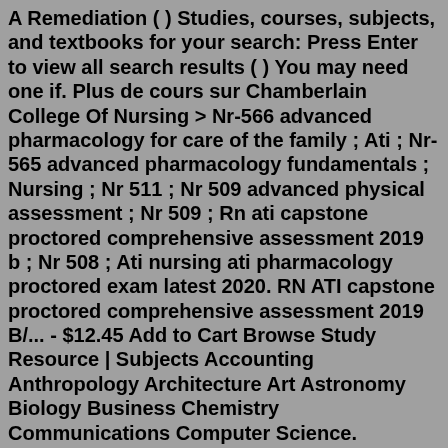A Remediation ( ) Studies, courses, subjects, and textbooks for your search: Press Enter to view all search results ( ) You may need one if. Plus de cours sur Chamberlain College Of Nursing > Nr-566 advanced pharmacology for care of the family ; Ati ; Nr-565 advanced pharmacology fundamentals ; Nursing ; Nr 511 ; Nr 509 advanced physical assessment ; Nr 509 ; Rn ati capstone proctored comprehensive assessment 2019 b ; Nr 508 ; Ati nursing ati pharmacology proctored exam latest 2020. RN ATI capstone proctored comprehensive assessment 2019 B/... - $12.45 Add to Cart Browse Study Resource | Subjects Accounting Anthropology Architecture Art Astronomy Biology Business Chemistry Communications Computer Science. Assessment findings for infectious mononucleosis (Mono): splenomegaly: Skin involved from superficial burns: Epidermis is red: Skin involved from partial thickness burns: Epidermis and dermis are damaged with blisters formed RN ATI capstone proctored